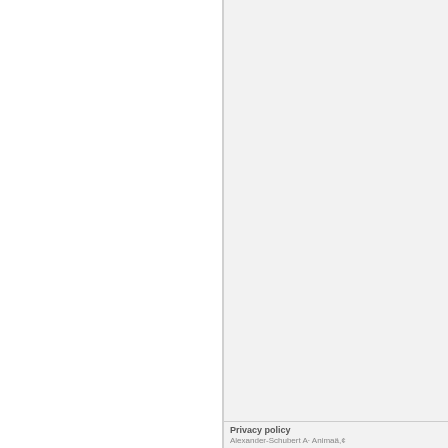Privacy policy
Alexander-Schubert A· Animaä,¢